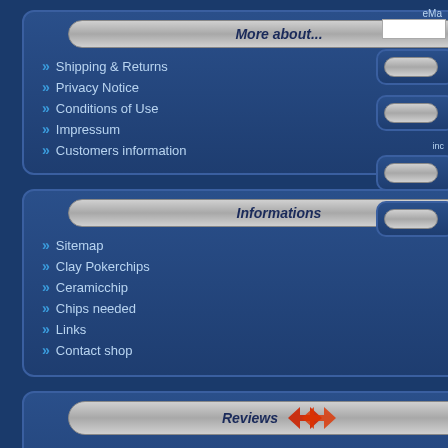More about...
Shipping & Returns
Privacy Notice
Conditions of Use
Impressum
Customers information
Informations
Sitemap
Clay Pokerchips
Ceramicchip
Chips needed
Links
Contact shop
Reviews
Review this product!
Search